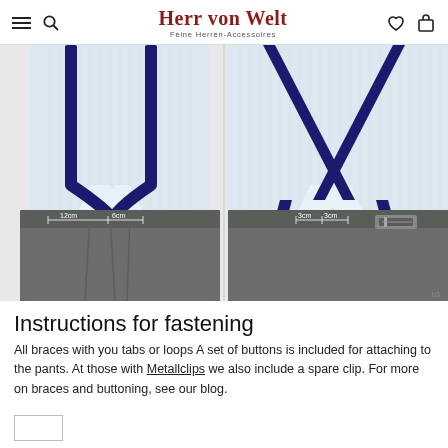Herr von Welt — Feine Herren-Accessoires
[Figure (illustration): Two side-by-side illustrations showing braces/suspenders worn over a white pinstripe shirt with grey trousers. Left side shows Y-back braces with measurements: 12cm and 6cm marked on the waistband. Right side shows X-back braces with measurements: 3cm and 3cm marked near the back strap attachment.]
Instructions for fastening
All braces with you tabs or loops A set of buttons is included for attaching to the pants. At those with Metallclips we also include a spare clip. For more on braces and buttoning, see our blog.